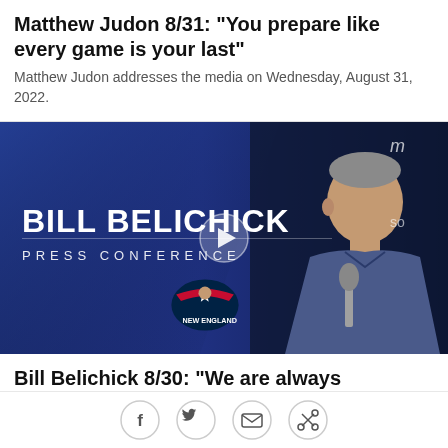Matthew Judon 8/31: "You prepare like every game is your last"
Matthew Judon addresses the media on Wednesday, August 31, 2022.
[Figure (screenshot): Video thumbnail for Bill Belichick Press Conference featuring text 'BILL BELICHICK PRESS CONFERENCE' with New England Patriots logo and a play button overlay, showing Bill Belichick at a podium.]
Bill Belichick 8/30: "We are always
[Figure (infographic): Social share bar with Facebook, Twitter, email, and link icons]